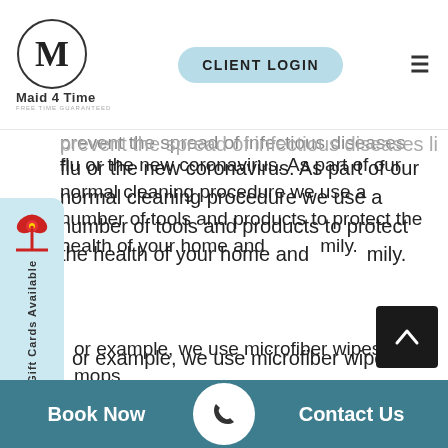[Figure (logo): Maid 4 Time logo with circular M emblem and tagline]
CLIENT LOGIN
prevent the spread of infectious diseases like the flu or the new coronavirus. As part of our normal cleaning procedure we use a number of tools and products to protect the health of your home and family.
[Figure (illustration): Gift Cards Available sidebar with red bow ribbon]
For example, we use microfiber wipes and mops. These are tools that remove organic matter from surfaces and hold it until laundering. All used cloths are bagged and laundered daily.
Our cleaning agents are both effective and safe for your family and the environment.
This year, the coronavirus poses an additional
Book Now  |  Contact Us